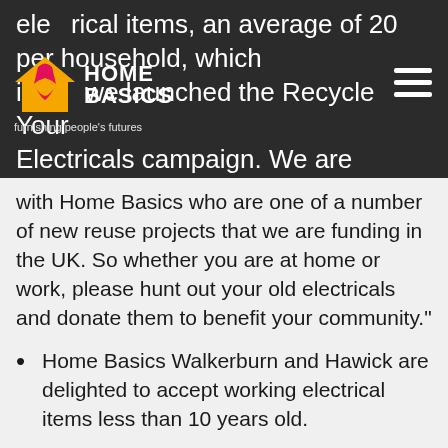electrical items, an average of 20 per household, which is a... we launched the Recycle Your Electricals campaign.  We are delighted to be working
[Figure (logo): Home Basics logo with house icon and tagline 'furnishing people's futures' on dark background]
with Home Basics who are one of a number of new reuse projects that we are funding in the UK.  So whether you are at home or work, please hunt out your old electricals and donate them to benefit your community."
Home Basics Walkerburn and Hawick are delighted to accept working electrical items less than 10 years old.
Collection of reuseable electricals can be arranged via the sales team in Home Basics Hawick and Walkerburn store, or items can be donated to the stores during open hours of 10am to 3.45pm on